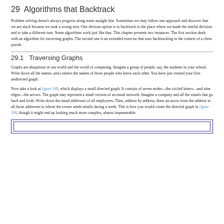29  Algorithms that Backtrack
Problem solving doesn’t always progress along some straight line. Sometimes we may follow one approach and discover that we are stuck because we took a wrong turn. One obvious option is to backtrack to the place where we made the fateful decision and to take a different turn. Some algorithms work just like that. This chapter presents two instances. The first section deals with an algorithm for traversing graphs. The second one is an extended exercise that uses backtracking in the context of a chess puzzle.
29.1  Traversing Graphs
Graphs are ubiquitous in our world and the world of computing. Imagine a group of people, say, the students in your school. Write down all the names, and connect the names of those people who know each other. You have just created your first undirected graph.
Now take a look at figure 168, which displays a small directed graph. It consists of seven nodes—the circled letters—and nine edges—the arrows. The graph may represent a small version of an email network. Imagine a company and all the emails that go back and forth. Write down the email addresses of all employees. Then, address by address, draw an arrow from the address to all those addresses to whom the owner sends emails during a week. This is how you would create the directed graph in figure 168, though it might end up looking much more complex, almost impenetrable.
[Figure (other): Partial view of a figure box (figure 168) showing a directed graph, only the top border visible at the bottom of the page.]